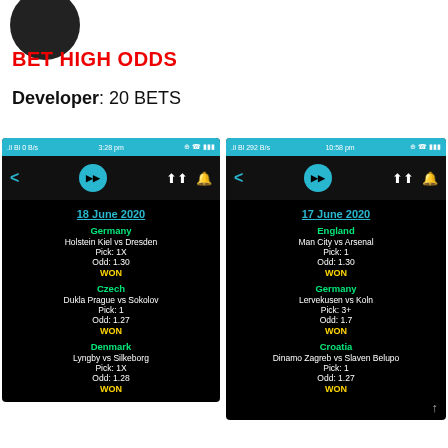[Figure (logo): Round dark logo/avatar at top left]
BET HIGH ODDS
Developer: 20 BETS
[Figure (screenshot): Mobile app screenshot showing 18 June 2020 bets: Germany - Holstein Kiel vs Dresden Pick:1X Odd:1.30 WON; Czech - Dukla Prague vs Sokolov Pick:1 Odd:1.27 WON; Denmark - Lyngby vs Silkeborg Pick:1X Odd:1.28 WON]
[Figure (screenshot): Mobile app screenshot showing 17 June 2020 bets: England - Man City vs Arsenal Pick:1 Odd:1.30 WON; Germany - Lervekusen vs Koln Pick:3+ Odd:1.7 WON; Croatia - Dinamo Zagreb vs Slaven Belupo Pick:1 Odd:1.27 WON]